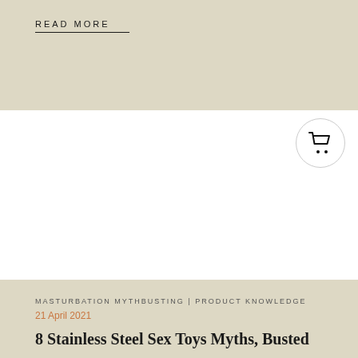READ MORE
[Figure (illustration): Shopping cart icon inside a circular border]
MASTURBATION MYTHBUSTING | PRODUCT KNOWLEDGE
21 April 2021
8 Stainless Steel Sex Toys Myths, Busted